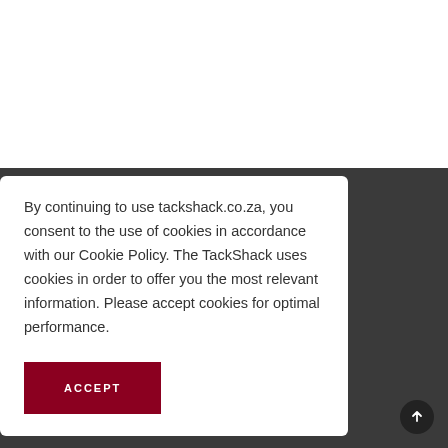[Figure (logo): Facebook and Instagram social media icons in header]
[Figure (logo): Tack Shack logo with crest emblem and text TACK SHACK]
By continuing to use tackshack.co.za, you consent to the use of cookies in accordance with our Cookie Policy. The TackShack uses cookies in order to offer you the most relevant information. Please accept cookies for optimal performance.
ACCEPT